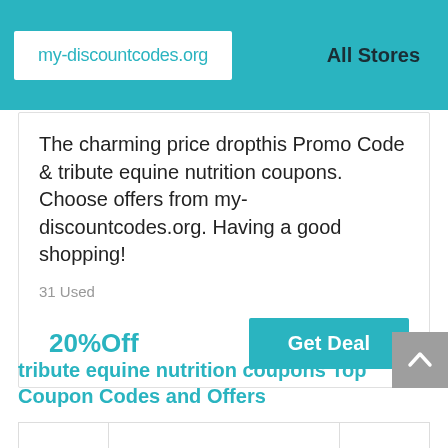my-discountcodes.org  All Stores
The charming price dropthis Promo Code & tribute equine nutrition coupons. Choose offers from my-discountcodes.org. Having a good shopping!
31 Used
20%Off
Get Deal
tribute equine nutrition coupons Top Coupon Codes and Offers
|  |  |  |